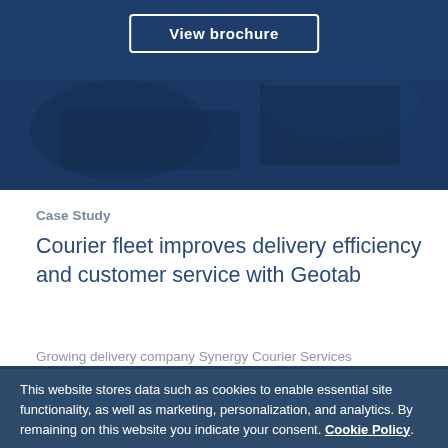[Figure (photo): Dark blue hero image background with a courier/delivery scene overlay]
View brochure
Case Study
Courier fleet improves delivery efficiency and customer service with Geotab
Growing delivery company Synergy Courier Services
This website stores data such as cookies to enable essential site functionality, as well as marketing, personalization, and analytics. By remaining on this website you indicate your consent. Cookie Policy.